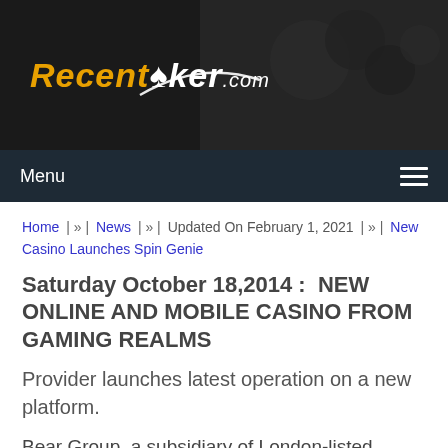[Figure (logo): RecentPoker.com website header banner with logo on dark background with poker chips and woman holding cards]
Menu
Home | » | News | » | Updated On February 1, 2021 | » | New Casino Launches Spin Genie
Saturday October 18,2014 :  NEW ONLINE AND MOBILE CASINO FROM GAMING REALMS
Provider launches latest operation on a new platform.
Bear Group, a subsidiary of London-listed online gambling provider Gaming Realms, has launched a new online and mobile casino dubbed Spin Genie – an appealing addition to a stable of internet